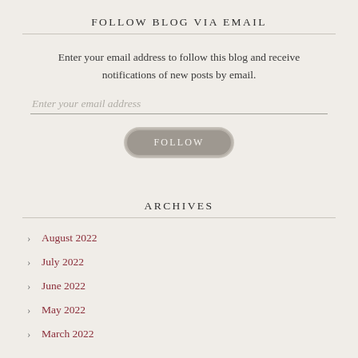FOLLOW BLOG VIA EMAIL
Enter your email address to follow this blog and receive notifications of new posts by email.
ARCHIVES
August 2022
July 2022
June 2022
May 2022
March 2022